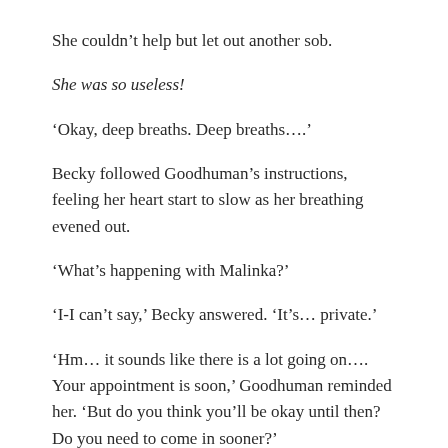She couldn’t help but let out another sob.
She was so useless!
‘Okay, deep breaths. Deep breaths….’
Becky followed Goodhuman’s instructions, feeling her heart start to slow as her breathing evened out.
‘What’s happening with Malinka?’
‘I-I can’t say,’ Becky answered. ‘It’s… private.’
‘Hm… it sounds like there is a lot going on…. Your appointment is soon,’ Goodhuman reminded her. ‘But do you think you’ll be okay until then? Do you need to come in sooner?’